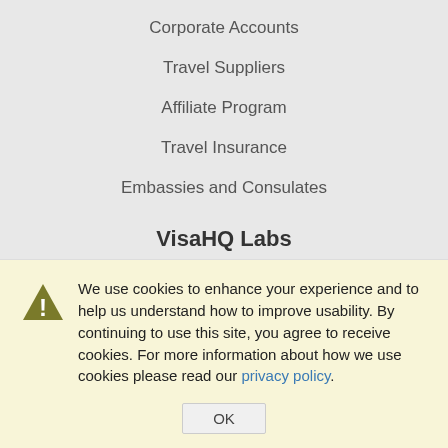Corporate Accounts
Travel Suppliers
Affiliate Program
Travel Insurance
Embassies and Consulates
VisaHQ Labs
VisaHQ Widgets
Global Visa Requirements
Map of Visa Requirements
Schengen Visa
We use cookies to enhance your experience and to help us understand how to improve usability. By continuing to use this site, you agree to receive cookies. For more information about how we use cookies please read our privacy policy.